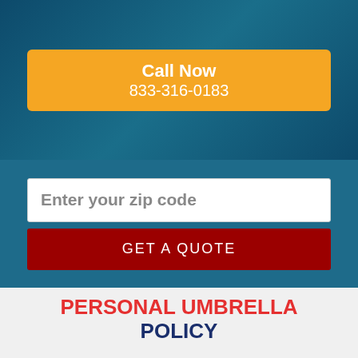[Figure (photo): Dark teal hero banner background with car and person imagery]
Call Now
833-316-0183
Enter your zip code
GET A QUOTE
PERSONAL UMBRELLA POLICY
Since there are limits to the coverage that you can get through a basic or comprehensive Alzada, Montana auto insurance policy, a personal umbrella policy (PUP) can offer you greater financial security. It